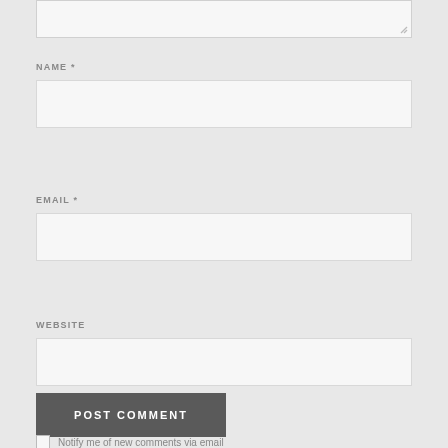[Figure (screenshot): Partial view of a comment text area at the top of the page with a resize handle]
NAME *
[Figure (screenshot): Name input field - empty text box]
EMAIL *
[Figure (screenshot): Email input field - empty text box]
WEBSITE
[Figure (screenshot): Website input field - empty text box]
POST COMMENT
Notify me of new comments via email